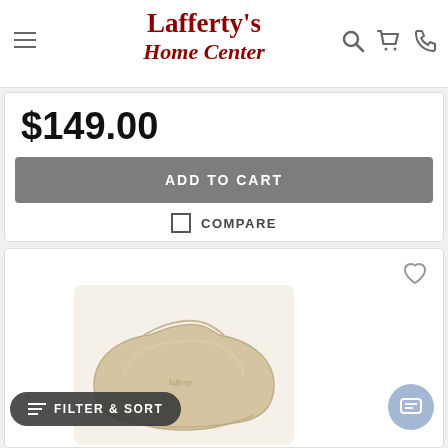[Figure (logo): Lafferty's Home Center logo in dark red serif font]
$149.00
ADD TO CART
COMPARE
[Figure (photo): Cream/beige contoured memory foam pillow with ergonomic shape]
FILTER & SORT